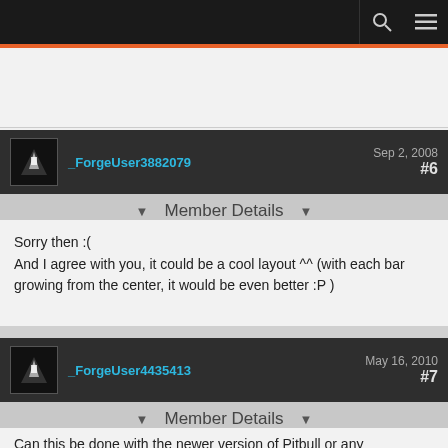(truncated top post content)
_ForgeUser3882079   Sep 2, 2008  #6
Member Details
Sorry then :(
And I agree with you, it could be a cool layout ^^ (with each bar growing from the center, it would be even better :P )
_ForgeUser4435413   May 16, 2010  #7
Member Details
Can this be done with the newer version of Pitbull or any